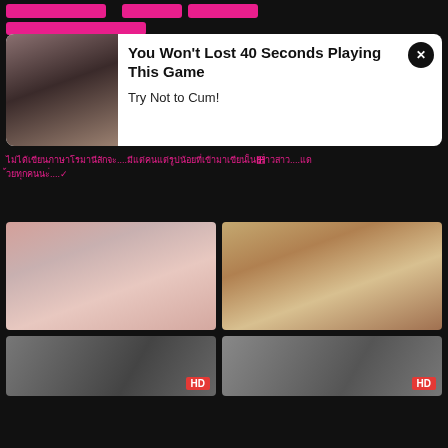[Figure (screenshot): Adult website screenshot with navigation bar buttons in pink]
[Figure (screenshot): Pop-up ad overlay with image on left and text on right, close button top right]
Thai-language text content (pink colored)
[Figure (photo): Two adult content thumbnail images in a 2-column grid]
[Figure (photo): Two more adult content thumbnails with HD badges]